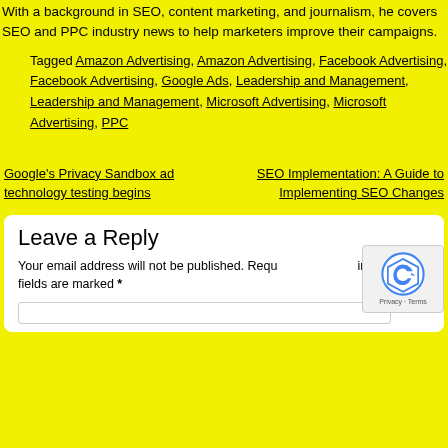With a background in SEO, content marketing, and journalism, he covers SEO and PPC industry news to help marketers improve their campaigns.
Tagged Amazon Advertising, Amazon Advertising, Facebook Advertising, Facebook Advertising, Google Ads, Leadership and Management, Leadership and Management, Microsoft Advertising, Microsoft Advertising, PPC
Google's Privacy Sandbox ad technology testing begins
SEO Implementation: A Guide to Implementing SEO Changes
Leave a Reply
Your email address will not be published. Required fields are marked *